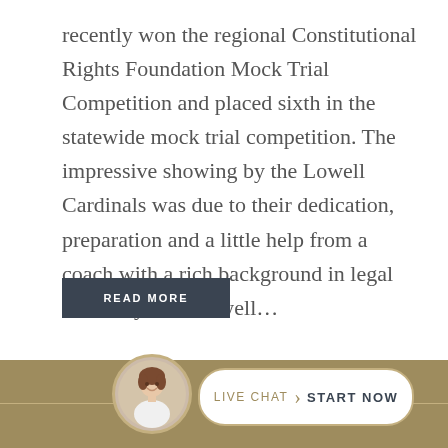recently won the regional Constitutional Rights Foundation Mock Trial Competition and placed sixth in the statewide mock trial competition. The impressive showing by the Lowell Cardinals was due to their dedication, preparation and a little help from a coach with a rich background in legal advocacy. The Lowell…
READ MORE
[Figure (infographic): Live chat banner with a circular avatar photo of a smiling woman, and a pill-shaped button reading 'LIVE CHAT › START NOW' on a tan/gold background bar]